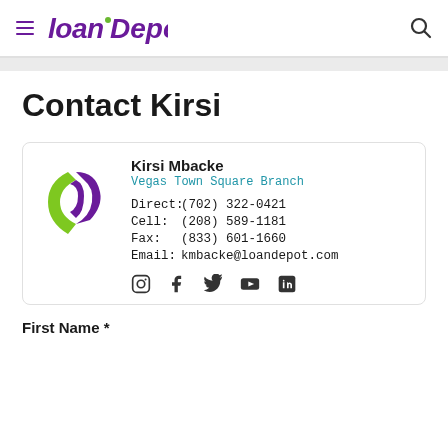loanDepot
Contact Kirsi
Kirsi Mbacke
Vegas Town Square Branch
Direct: (702) 322-0421
Cell: (208) 589-1181
Fax: (833) 601-1660
Email: kmbacke@loandepot.com
First Name *